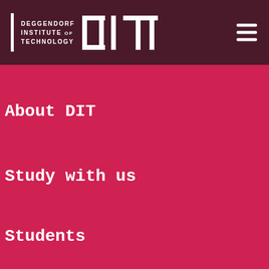[Figure (logo): Deggendorf Institute of Technology DIT logo - white text and geometric letterforms on dark maroon header bar]
About DIT
Study with us
Students
[Figure (map): White silhouette map of Bavaria with location dots on dark background]
LOCATION:
DEGGENDORF, DIT

DEGREE:
B. ENG.

COURSE LANGUAGE:
GERMAN
Research
Further
Business
[Figure (illustration): Blue chat robot widget with 'chat with me' text]
© 2022 | Technische Hochschule Deggendorf | legal notice | data privacy | accessibility
[Figure (infographic): Social media icons row: Facebook, Instagram, LinkedIn, Twitter, YouTube, Snapchat, TikTok]